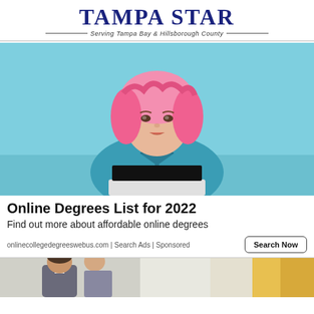Tampa Star — Serving Tampa Bay & Hillsborough County
[Figure (photo): Young woman with pink wavy hair wearing a teal denim shirt, holding a laptop with a black screen, posed against a light blue background.]
Online Degrees List for 2022
Find out more about affordable online degrees
onlinecollegedegreeswebus.com | Search Ads | Sponsored
[Figure (photo): Partial photo at bottom showing two people in a bright indoor setting, one person appears to be a man in a suit.]